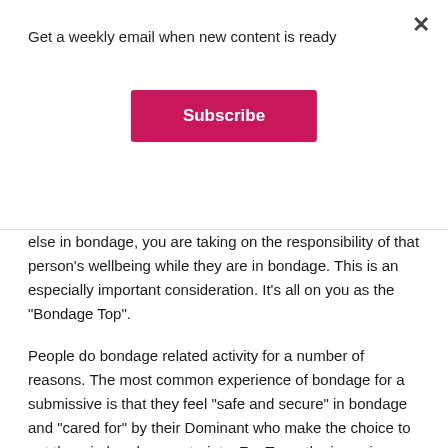Get a weekly email when new content is ready
Subscribe
else in bondage, you are taking on the responsibility of that person's wellbeing while they are in bondage. This is an especially important consideration. It's all on you as the "Bondage Top".
People do bondage related activity for a number of reasons. The most common experience of bondage for a submissive is that they feel "safe and secure" in bondage and "cared for" by their Dominant who make the choice to put them in bondage restraints. For Tops, the issue is simply the arousal that accrues  from power and control.